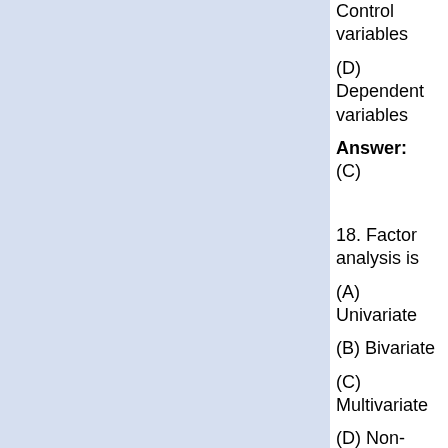Control variables
(D) Dependent variables
Answer: (C)
18. Factor analysis is
(A) Univariate
(B) Bivariate
(C) Multivariate
(D) Non-variate